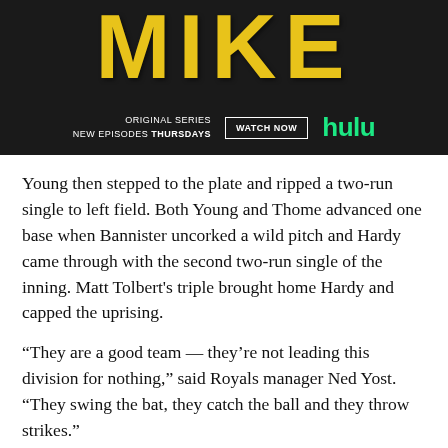[Figure (screenshot): Hulu advertisement banner for the original series 'MIKE'. Dark background with large yellow distressed text reading 'MIKE'. Bottom bar shows 'ORIGINAL SERIES NEW EPISODES THURSDAYS', a 'WATCH NOW' button, and the Hulu logo in green.]
Young then stepped to the plate and ripped a two-run single to left field. Both Young and Thome advanced one base when Bannister uncorked a wild pitch and Hardy came through with the second two-run single of the inning. Matt Tolbert's triple brought home Hardy and capped the uprising.
“They are a good team — they’re not leading this division for nothing,” said Royals manager Ned Yost. “They swing the bat, they catch the ball and they throw strikes.”